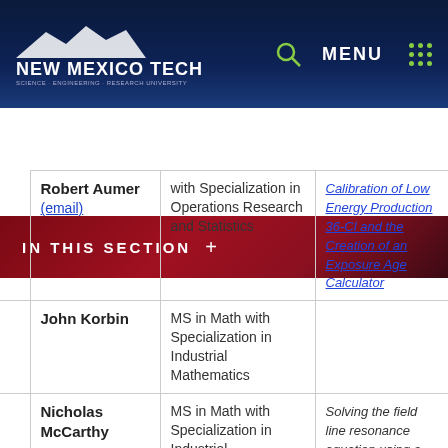New Mexico Tech — Navigation bar with logo, search, and menu
IN THIS SECTION +
|  | Name | Degree | Thesis |
| --- | --- | --- | --- |
|  | Robert Aumer (email) | with Specialization in Operations Research and Statistics | Calibration of Low Energy Production 36-Cl and the Creation of an Exposure Age Calculator |
|  | John Korbin | MS in Math with Specialization in Industrial Mathematics |  |
|  | Nicholas McCarthy | MS in Math with Specialization in Industrial Mathematics | Solving the field line resonance equation using a realistic model of the plasma density at low altitude |